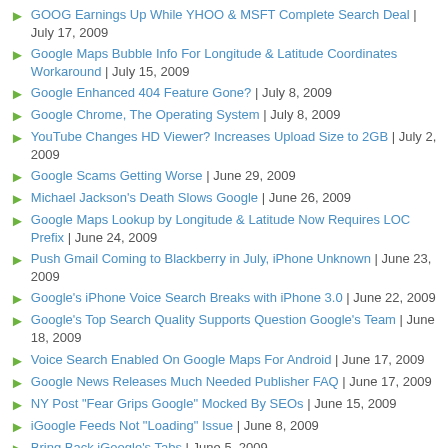GOOG Earnings Up While YHOO & MSFT Complete Search Deal | July 17, 2009
Google Maps Bubble Info For Longitude & Latitude Coordinates Workaround | July 15, 2009
Google Enhanced 404 Feature Gone? | July 8, 2009
Google Chrome, The Operating System | July 8, 2009
YouTube Changes HD Viewer? Increases Upload Size to 2GB | July 2, 2009
Google Scams Getting Worse | June 29, 2009
Michael Jackson's Death Slows Google | June 26, 2009
Google Maps Lookup by Longitude & Latitude Now Requires LOC Prefix | June 24, 2009
Push Gmail Coming to Blackberry in July, iPhone Unknown | June 23, 2009
Google's iPhone Voice Search Breaks with iPhone 3.0 | June 22, 2009
Google's Top Search Quality Supports Question Google's Team | June 18, 2009
Voice Search Enabled On Google Maps For Android | June 17, 2009
Google News Releases Much Needed Publisher FAQ | June 17, 2009
NY Post "Fear Grips Google" Mocked By SEOs | June 15, 2009
iGoogle Feeds Not "Loading" Issue | June 8, 2009
Bring Back iGoogle's Tabs | June 5, 2009
Google Squared Is Live: What SEOs & Searchers Need To Know | June 5, 2009
Detailed Look At Google's New Local Business Center Analytics | June 4, 2009